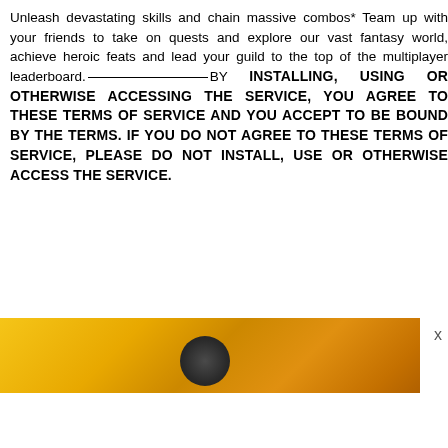Unleash devastating skills and chain massive combos* Team up with your friends to take on quests and explore our vast fantasy world, achieve heroic feats and lead your guild to the top of the multiplayer leaderboard.—BY INSTALLING, USING OR OTHERWISE ACCESSING THE SERVICE, YOU AGREE TO THESE TERMS OF SERVICE AND YOU ACCEPT TO BE BOUND BY THE TERMS. IF YOU DO NOT AGREE TO THESE TERMS OF SERVICE, PLEASE DO NOT INSTALL, USE OR OTHERWISE ACCESS THE SERVICE.
[Figure (photo): A partial image showing a golden/amber colored background with a dark spherical object in the center, partially cropped. A close button (x) appears to the right.]